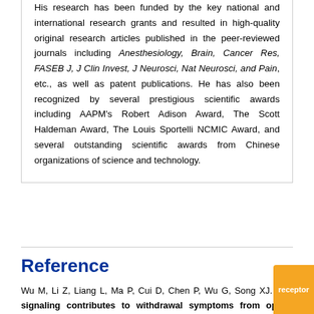His research has been funded by the key national and international research grants and resulted in high-quality original research articles published in the peer-reviewed journals including Anesthesiology, Brain, Cancer Res, FASEB J, J Clin Invest, J Neurosci, Nat Neurosci, and Pain, etc., as well as patent publications. He has also been recognized by several prestigious scientific awards including AAPM's Robert Adison Award, The Scott Haldeman Award, The Louis Sportelli NCMIC Award, and several outstanding scientific awards from Chinese organizations of science and technology.
Reference
Wu M, Li Z, Liang L, Ma P, Cui D, Chen P, Wu G, Song XJ. Wnt signaling contributes to withdrawal symptoms from opioid receptor activation induced by morphine exposure or chronic